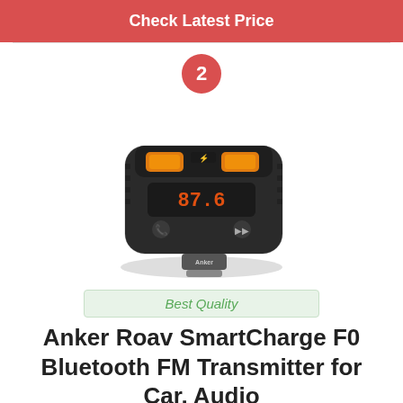Check Latest Price
2
[Figure (photo): Anker Roav SmartCharge F0 Bluetooth FM Transmitter for Car — a black compact car charger device with orange USB ports and a digital display]
Best Quality
Anker Roav SmartCharge F0 Bluetooth FM Transmitter for Car, Audio